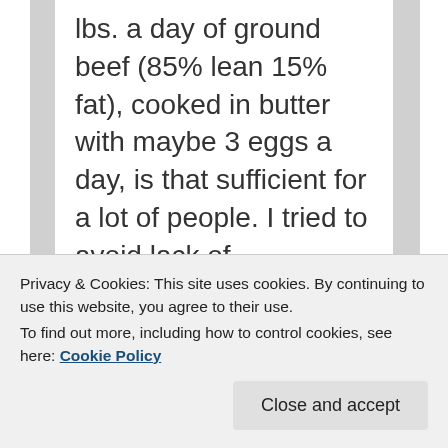lbs. a day of ground beef (85% lean 15% fat), cooked in butter with maybe 3 eggs a day, is that sufficient for a lot of people. I tried to avoid lack of fat/constipation by eating beef trimmings for breakfast for about a week and got very sick, and consumed
Privacy & Cookies: This site uses cookies. By continuing to use this website, you agree to their use.
To find out more, including how to control cookies, see here: Cookie Policy